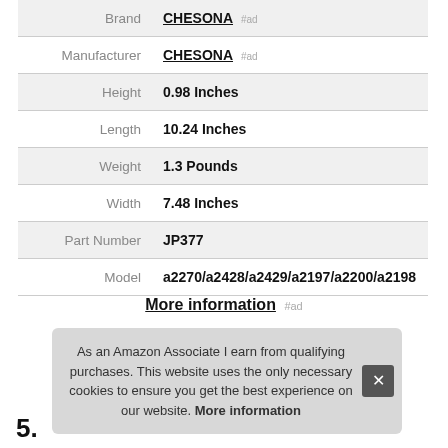| Attribute | Value |
| --- | --- |
| Brand | CHESONA #ad |
| Manufacturer | CHESONA #ad |
| Height | 0.98 Inches |
| Length | 10.24 Inches |
| Weight | 1.3 Pounds |
| Width | 7.48 Inches |
| Part Number | JP377 |
| Model | a2270/a2428/a2429/a2197/a2200/a2198 |
More information #ad
As an Amazon Associate I earn from qualifying purchases. This website uses the only necessary cookies to ensure you get the best experience on our website. More information
5.